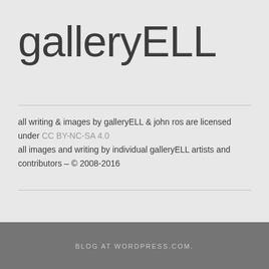galleryELL
all writing & images by galleryELL & john ros are licensed under CC BY-NC-SA 4.0
all images and writing by individual galleryELL artists and contributors – © 2008-2016
BLOG AT WORDPRESS.COM.